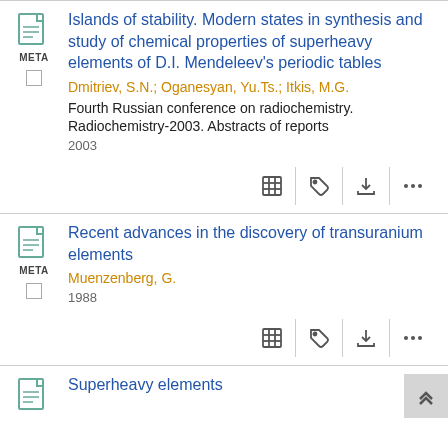Islands of stability. Modern states in synthesis and study of chemical properties of superheavy elements of D.I. Mendeleev's periodic tables
Dmitriev, S.N.; Oganesyan, Yu.Ts.; Itkis, M.G.
Fourth Russian conference on radiochemistry. Radiochemistry-2003. Abstracts of reports
2003
Recent advances in the discovery of transuranium elements
Muenzenberg, G.
1988
Superheavy elements